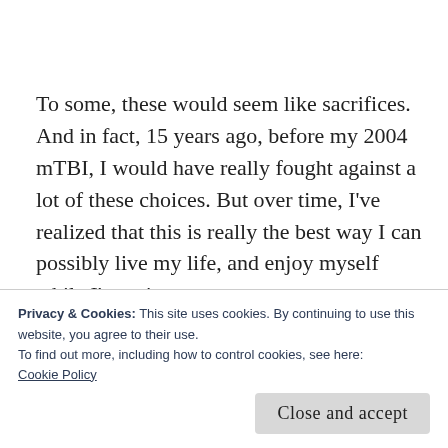To some, these would seem like sacrifices. And in fact, 15 years ago, before my 2004 mTBI, I would have really fought against a lot of these choices. But over time, I've realized that this is really the best way I can possibly live my life, and enjoy myself while I'm at it.
Privacy & Cookies: This site uses cookies. By continuing to use this website, you agree to their use.
To find out more, including how to control cookies, see here:
Cookie Policy